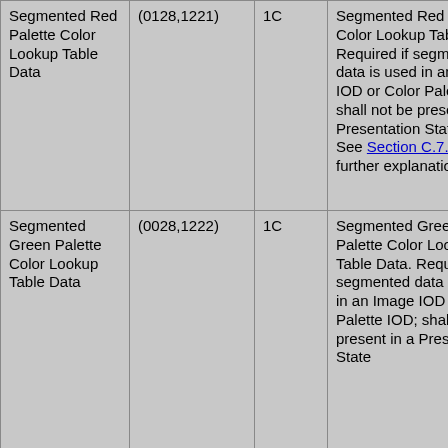| Segmented Red Palette Color Lookup Table Data | (0128,1221) | 1C | Segmented Red Palette Color Lookup Table Data. Required if segmented data is used in an Image IOD or Color Palette IOD; shall not be present in a Presentation State IOD. See Section C.7.9.2 for further explanation. |
| Segmented Green Palette Color Lookup Table Data | (0028,1222) | 1C | Segmented Green Palette Color Lookup Table Data. Required if segmented data is used in an Image IOD or Color Palette IOD; shall not be present in a Presentation State… |